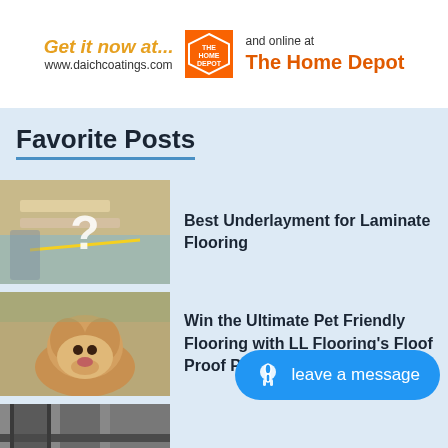[Figure (infographic): Advertisement banner: 'Get it now at... www.daichcoatings.com' with The Home Depot logo and 'and online at The Home Depot']
Favorite Posts
[Figure (photo): Thumbnail image of laminate flooring installation with measuring tape, with question mark overlay]
Best Underlayment for Laminate Flooring
[Figure (photo): Thumbnail image of a golden fluffy dog lying on floor]
Win the Ultimate Pet Friendly Flooring with LL Flooring's Floof Proof Pet Sweepstakes!
[Figure (photo): Thumbnail image of weathered wooden window frame or door]
Easiest Way to Repair W
leave a message